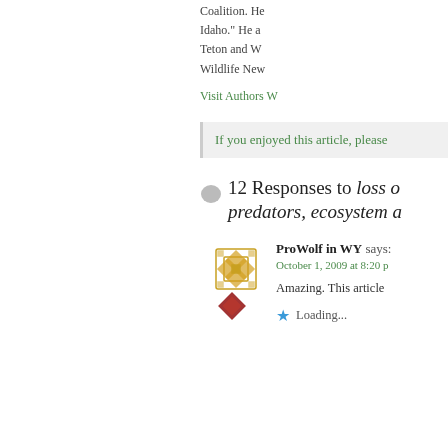Coalition. He Idaho." He a Teton and W Wildlife New
Visit Authors W
If you enjoyed this article, please
12 Responses to loss of predators, ecosystem a
ProWolf in WY says: October 1, 2009 at 8:20 p
Amazing. This article
Loading...